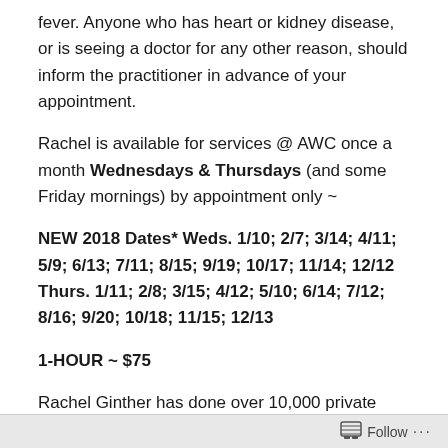fever. Anyone who has heart or kidney disease, or is seeing a doctor for any other reason, should inform the practitioner in advance of your appointment.
Rachel is available for services @ AWC once a month Wednesdays & Thursdays (and some Friday mornings) by appointment only ~
NEW 2018 Dates* Weds. 1/10; 2/7; 3/14; 4/11; 5/9; 6/13; 7/11; 8/15; 9/19; 10/17; 11/14; 12/12  Thurs. 1/11; 2/8; 3/15; 4/12; 5/10; 6/14; 7/12; 8/16; 9/20; 10/18; 11/15; 12/13
1-HOUR ~ $75
Rachel Ginther has done over 10,000 private sessions, doing bodywork and energywork (Reiki, Seichim, Ama
Follow